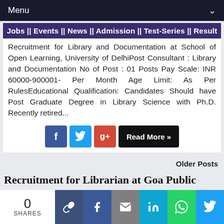Menu
Jobs || Events || News || Admission || Test-Series || Result
Recruitment for Library and Documentation at School of Open Learning, University of DelhiPost Consultant : Library and Documentation No of Post : 01 Posts Pay Scale: INR 60000-900001- Per Month Age Limit: As Per RulesEducational Qualification: Candidates Should have Post Graduate Degree in Library Science with Ph.D. Recently retired...
Older Posts
Recruitment for Librarian at Goa Public Service Commission